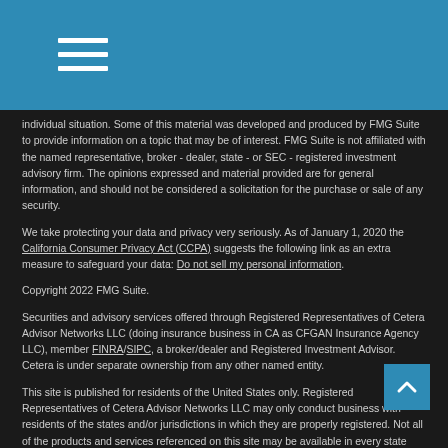Navigation menu header bar with hamburger icon
individual situation. Some of this material was developed and produced by FMG Suite to provide information on a topic that may be of interest. FMG Suite is not affiliated with the named representative, broker - dealer, state - or SEC - registered investment advisory firm. The opinions expressed and material provided are for general information, and should not be considered a solicitation for the purchase or sale of any security.
We take protecting your data and privacy very seriously. As of January 1, 2020 the California Consumer Privacy Act (CCPA) suggests the following link as an extra measure to safeguard your data: Do not sell my personal information.
Copyright 2022 FMG Suite.
Securities and advisory services offered through Registered Representatives of Cetera Advisor Networks LLC (doing insurance business in CA as CFGAN Insurance Agency LLC), member FINRA/SIPC, a broker/dealer and Registered Investment Advisor. Cetera is under separate ownership from any other named entity.
This site is published for residents of the United States only. Registered Representatives of Cetera Advisor Networks LLC may only conduct business with residents of the states and/or jurisdictions in which they are properly registered. Not all of the products and services referenced on this site may be available in every state and through every representative listed. For additional information please